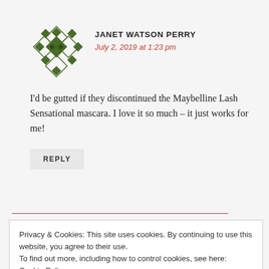[Figure (illustration): Green geometric diamond/rhombus pattern avatar icon for user Janet Watson Perry]
JANET WATSON PERRY
July 2, 2019 at 1:23 pm
I'd be gutted if they discontinued the Maybelline Lash Sensational mascara. I love it so much – it just works for me!
REPLY
Privacy & Cookies: This site uses cookies. By continuing to use this website, you agree to their use.
To find out more, including how to control cookies, see here: Cookie Policy
Close and accept